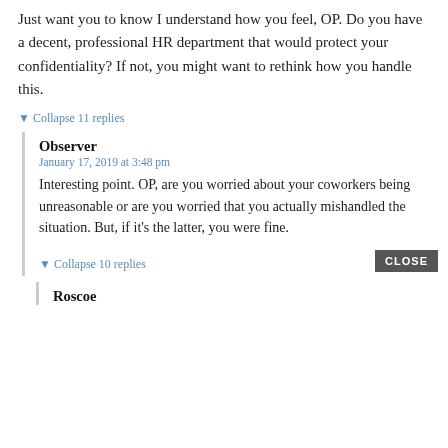Just want you to know I understand how you feel, OP. Do you have a decent, professional HR department that would protect your confidentiality? If not, you might want to rethink how you handle this.
▼ Collapse 11 replies
Observer
January 17, 2019 at 3:48 pm
Interesting point. OP, are you worried about your coworkers being unreasonable or are you worried that you actually mishandled the situation. But, if it's the latter, you were fine.
▼ Collapse 10 replies
CLOSE
Roscoe